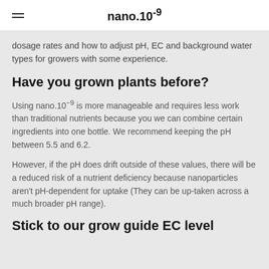nano.10⁻⁹
dosage rates and how to adjust pH, EC and background water types for growers with some experience.
Have you grown plants before?
Using nano.10⁻⁹ is more manageable and requires less work than traditional nutrients because you we can combine certain ingredients into one bottle. We recommend keeping the pH between 5.5 and 6.2.
However, if the pH does drift outside of these values, there will be a reduced risk of a nutrient deficiency because nanoparticles aren't pH-dependent for uptake (They can be up-taken across a much broader pH range).
Stick to our grow guide EC level